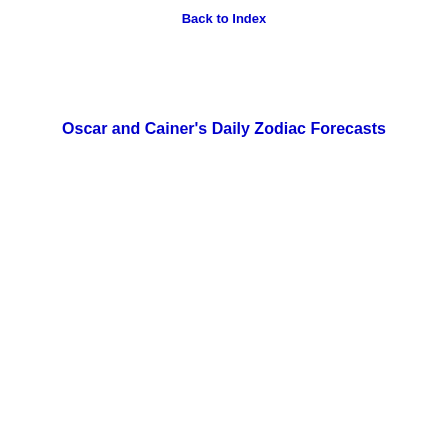Back to Index
Oscar and Cainer's Daily Zodiac Forecasts